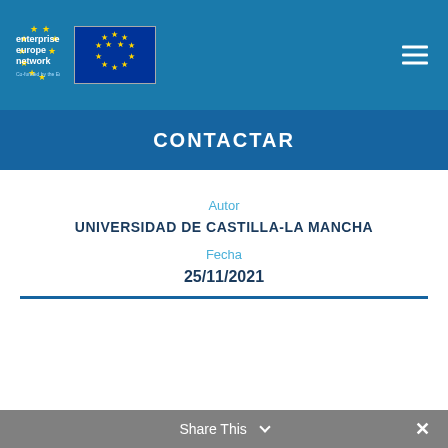[Figure (logo): Enterprise Europe Network logo with yellow stars and text, alongside EU flag with circle of yellow stars on blue background, plus hamburger menu icon]
CONTACTAR
Autor
UNIVERSIDAD DE CASTILLA-LA MANCHA
Fecha
25/11/2021
Share This